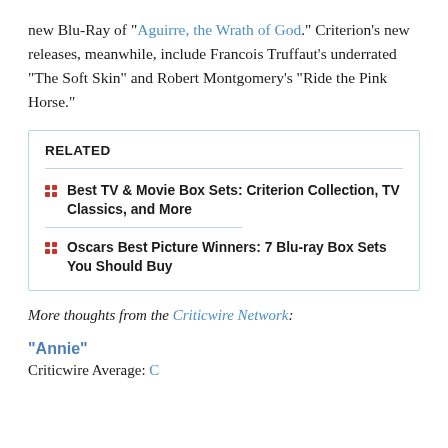new Blu-Ray of “Aguirre, the Wrath of God.” Criterion’s new releases, meanwhile, include Francois Truffaut’s underrated “The Soft Skin” and Robert Montgomery’s “Ride the Pink Horse.”
RELATED
Best TV & Movie Box Sets: Criterion Collection, TV Classics, and More
Oscars Best Picture Winners: 7 Blu-ray Box Sets You Should Buy
More thoughts from the Criticwire Network:
“Annie”
Criticwire Average: C